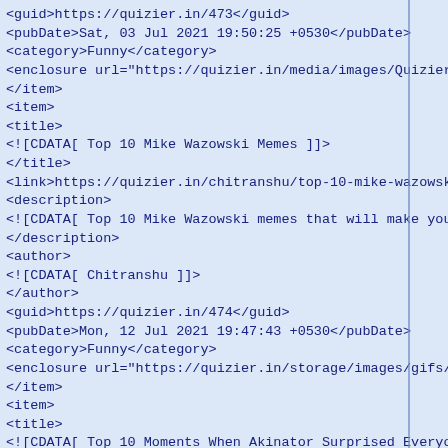<guid>https://quizier.in/473</guid>
<pubDate>Sat, 03 Jul 2021 19:50:25 +0530</pubDate>
<category>Funny</category>
<enclosure url="https://quizier.in/media/images/Quizier.in_
</item>
<item>
<title>
<![CDATA[ Top 10 Mike Wazowski Memes ]]>
</title>
<link>https://quizier.in/chitranshu/top-10-mike-wazowski-me
<description>
<![CDATA[ Top 10 Mike Wazowski memes that will make you lau
</description>
<author>
<![CDATA[ Chitranshu ]]>
</author>
<guid>https://quizier.in/474</guid>
<pubDate>Mon, 12 Jul 2021 19:47:43 +0530</pubDate>
<category>Funny</category>
<enclosure url="https://quizier.in/storage/images/gifs/Quiz
</item>
<item>
<title>
<![CDATA[ Top 10 Moments When Akinator Surprised Everyone ]
</title>
<link>https://quizier.in/chitranshu/top-10-moments-when-aki
<description>
<![CDATA[ Top 10 Moments when Akinator surprised everyone w
</description>
<author>